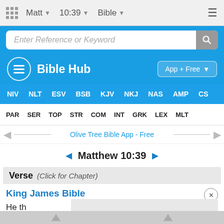Matt  10:39  Bible
Enter Reference or Keyword
Bible Hub
App + Free
NIV  NLT  ESV  BSB  KJV  NKJ  NAS  AMP  CS
PAR  SER  TOP  STR  COM  INT  GRK  LEX  MLT
Olive Tree Bible App - Free
Matthew 10:39
Verse  (Click for Chapter)
King James Bible
He th
loseth